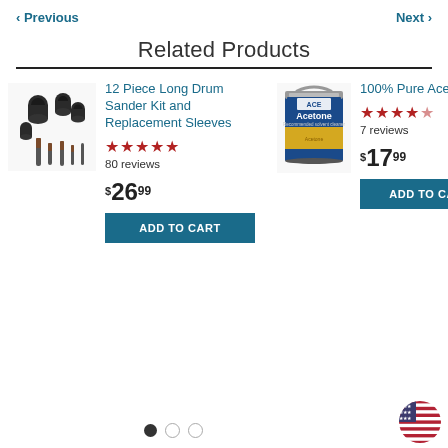‹ Previous   Next ›
Related Products
[Figure (photo): Socket set / drum sander kit - dark metal sockets and attachments]
12 Piece Long Drum Sander Kit and Replacement Sleeves
★★★★★ 80 reviews
$26.99
ADD TO CART
[Figure (photo): Acetone can - blue and yellow tin can labeled Acetone]
100% Pure Acetone
★★★★½ 7 reviews
$17.99
ADD TO CART